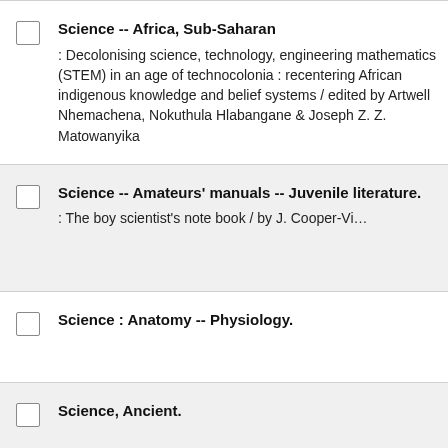Science -- Africa, Sub-Saharan : Decolonising science, technology, engineering mathematics (STEM) in an age of technocolonia : recentering African indigenous knowledge and belief systems / edited by Artwell Nhemachena, Nokuthula Hlabangane & Joseph Z. Z. Matowanyika
Science -- Amateurs' manuals -- Juvenile literature. : The boy scientist's note book / by J. Cooper-Vi...
Science : Anatomy -- Physiology.
Science, Ancient.